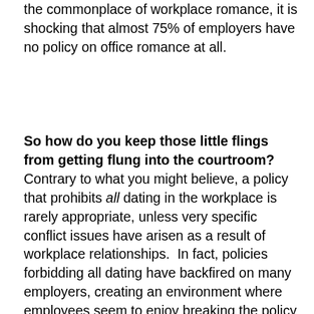the commonplace of workplace romance, it is shocking that almost 75% of employers have no policy on office romance at all.
So how do you keep those little flings from getting flung into the courtroom? Contrary to what you might believe, a policy that prohibits all dating in the workplace is rarely appropriate, unless very specific conflict issues have arisen as a result of workplace relationships. In fact, policies forbidding all dating have backfired on many employers, creating an environment where employees seem to enjoy breaking the policy because of the risk involved and lose respect for other management policies. In addition, California employers must stay aware of the broadly worded provisions of the California Labor Code that forbid